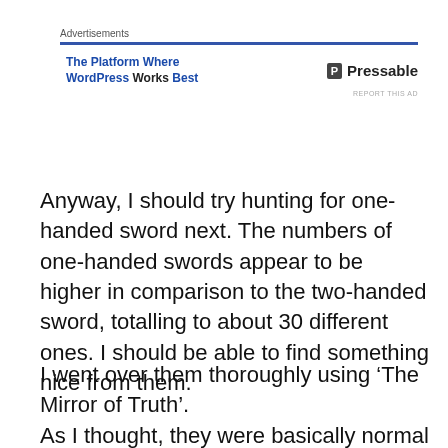Advertisements
[Figure (other): Pressable advertisement banner: 'The Platform Where WordPress Works Best' with Pressable logo]
Anyway, I should try hunting for one-handed sword next. The numbers of one-handed swords appear to be higher in comparison to the two-handed sword, totalling to about 30 different ones. I should be able to find something nice from them.
I went over them thoroughly using ‘The Mirror of Truth’.
As I thought, they were basically normal weapons.
《Bronze Sword》, 《Short Sword》, 《Long Sword》,